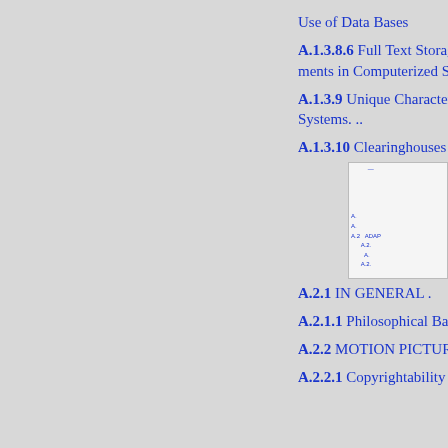Use of Data Bases
A.1.3.8.6 Full Text Storage a
ments in Computerized System
A.1.3.9 Unique Characteristi
Systems. ..
A.1.3.10 Clearinghouses and
[Figure (other): Inset panel showing table of contents entries including A.2, ADAP, A.2.1, A.2.2 and sub-entries]
A.2.1 IN GENERAL .
A.2.1.1 Philosophical Basis
A.2.2 MOTION PICTURES.
A.2.2.1 Copyrightability of M